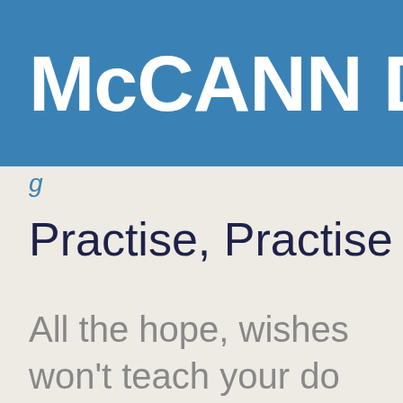McCANN DO
g
Practise, Practise
All the hope, wishes
won't teach your do